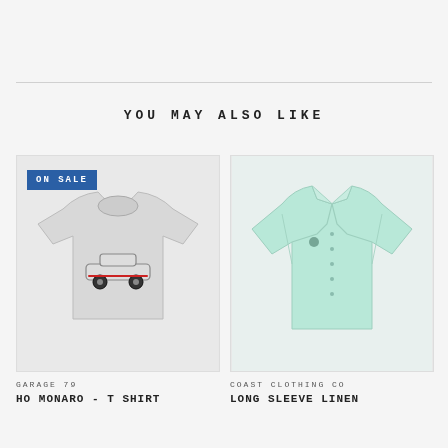YOU MAY ALSO LIKE
[Figure (photo): Gray t-shirt with a pixel-art car graphic, shown on a light gray background, with an 'ON SALE' badge in the top left corner]
GARAGE 79
HO Monaro - T Shirt
[Figure (photo): Mint green long sleeve linen button-up shirt on a light gray background, with a small logo on the chest]
COAST CLOTHING CO
Long Sleeve Linen